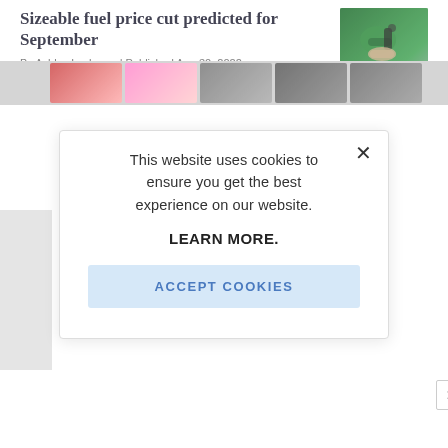Sizeable fuel price cut predicted for September
By Ashley Lechman | Published Aug 30, 2022
[Figure (photo): Photo of a fuel pump nozzle being held, with green pump handle visible]
This website uses cookies to ensure you get the best experience on our website.

LEARN MORE.

ACCEPT COOKIES